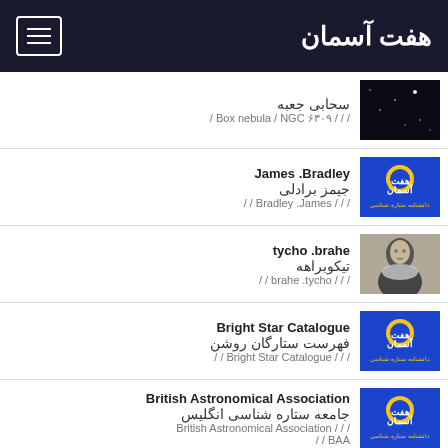هفت آسمان
سحابی جعبه / Box nebula / NGC ۶۳۰۹ / / /
James .Bradley / جیمز برادلی / / James .Bradley / / /
tycho .brahe / تیکوبراهه / / brahe .tycho / / /
Bright Star Catalogue / فهرست ستارگان روشن / / Bright Star Catalogue / / /
British Astronomical Association / جامعه ستاره شناسی انگلیس / British Astronomical Association / / / / / BAA
Brooks.comet